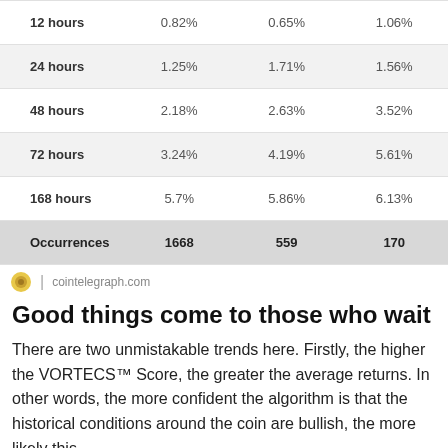|  | Col1 | Col2 | Col3 |
| --- | --- | --- | --- |
| 12 hours | 0.82% | 0.65% | 1.06% |
| 24 hours | 1.25% | 1.71% | 1.56% |
| 48 hours | 2.18% | 2.63% | 3.52% |
| 72 hours | 3.24% | 4.19% | 5.61% |
| 168 hours | 5.7% | 5.86% | 6.13% |
| Occurrences | 1668 | 559 | 170 |
cointelegraph.com
Good things come to those who wait
There are two unmistakable trends here. Firstly, the higher the VORTECS™ Score, the greater the average returns. In other words, the more confident the algorithm is that the historical conditions around the coin are bullish, the more likely this